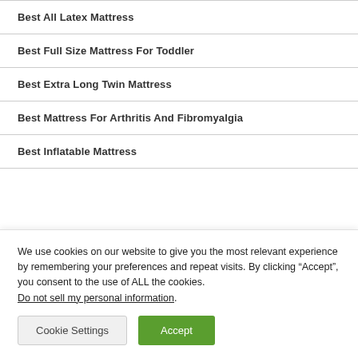Best All Latex Mattress
Best Full Size Mattress For Toddler
Best Extra Long Twin Mattress
Best Mattress For Arthritis And Fibromyalgia
Best Inflatable Mattress
We use cookies on our website to give you the most relevant experience by remembering your preferences and repeat visits. By clicking “Accept”, you consent to the use of ALL the cookies. Do not sell my personal information.